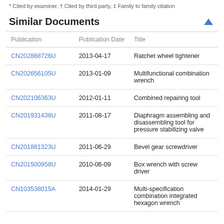* Cited by examiner, † Cited by third party, ‡ Family to family citation
Similar Documents
| Publication | Publication Date | Title |
| --- | --- | --- |
| CN202888726U | 2013-04-17 | Ratchet wheel tightener |
| CN202656105U | 2013-01-09 | Multifunctional combination wrench |
| CN202106363U | 2012-01-11 | Combined repairing tool |
| CN201931438U | 2011-08-17 | Diaphragm assembling and disassembling tool for pressure stabilizing valve |
| CN201881323U | 2011-06-29 | Bevel gear screwdriver |
| CN201500958U | 2010-06-09 | Box wrench with screw driver |
| CN103538015A | 2014-01-29 | Multi-specification combination integrated hexagon wrench |